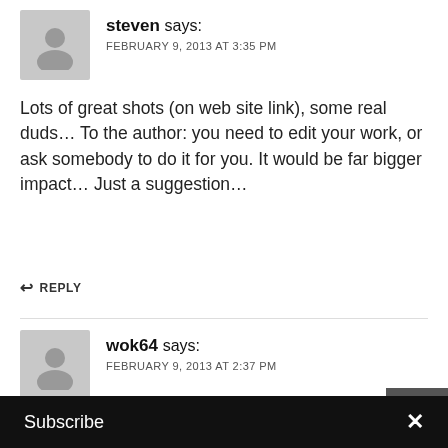steven says: FEBRUARY 9, 2013 AT 3:35 PM
Lots of great shots (on web site link), some real duds… To the author: you need to edit your work, or ask somebody to do it for you. It would be far bigger impact… Just a suggestion…
↩ REPLY
wok64 says: FEBRUARY 9, 2013 AT 2:37 PM
"I often find that the beauty of a manual rangefinder is not only the quality of the camera and glass but the beauty in the flow of it" I couldn't phrase it bette
Subscribe ×